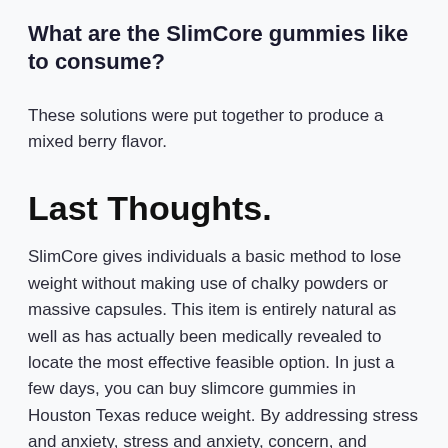What are the SlimCore gummies like to consume?
These solutions were put together to produce a mixed berry flavor.
Last Thoughts.
SlimCore gives individuals a basic method to lose weight without making use of chalky powders or massive capsules. This item is entirely natural as well as has actually been medically revealed to locate the most effective feasible option. In just a few days, you can buy slimcore gummies in Houston Texas reduce weight. By addressing stress and anxiety, stress and anxiety, concern, and